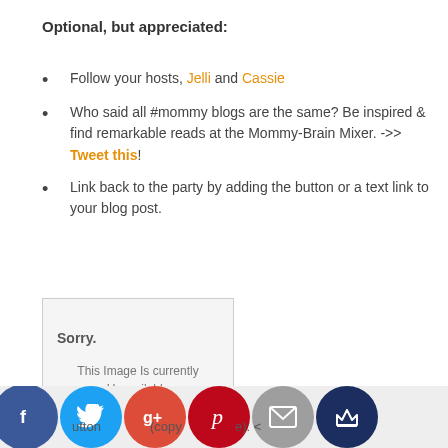Optional, but appreciated:
Follow your hosts, Jelli and Cassie
Who said all #mommy blogs are the same? Be inspired & find remarkable reads at the Mommy-Brain Mixer. ->> Tweet this!
Link back to the party by adding the button or a text link to your blog post.
[Figure (other): Photobucket image placeholder showing 'Sorry. This Image Is Currently Unavailable' with Photobucket branding at bottom]
[Figure (other): Social media share buttons: Facebook, Twitter, Google+, Pinterest, Email, Crown icon. Bottom bar with partial text 'utton (copy e): <']